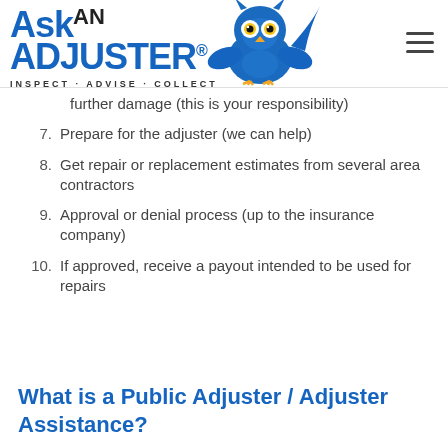Ask AN ADJUSTER® · INSPECT · ADVISE · COLLECT
further damage (this is your responsibility)
7. Prepare for the adjuster (we can help)
8. Get repair or replacement estimates from several area contractors
9. Approval or denial process (up to the insurance company)
10. If approved, receive a payout intended to be used for repairs
What is a Public Adjuster / Adjuster Assistance?